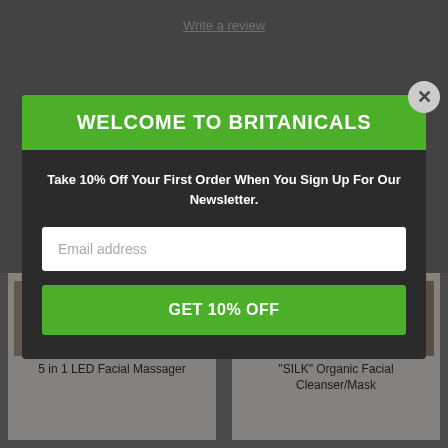Write a review
[Figure (screenshot): Background page showing product listing page with gray overlay and two product cards at the bottom: '5 in 1 LED Facial Massager' and '"SILK" Organic Facial Cleanser/Mask']
WELCOME TO BRITANICALS
Take 10% Off Your First Order When You Sign Up For Our Newsletter.
Email address
GET 10% OFF
5 in 1 LED Facial Massager
"SILK" Organic Facial Cleanser/Mask